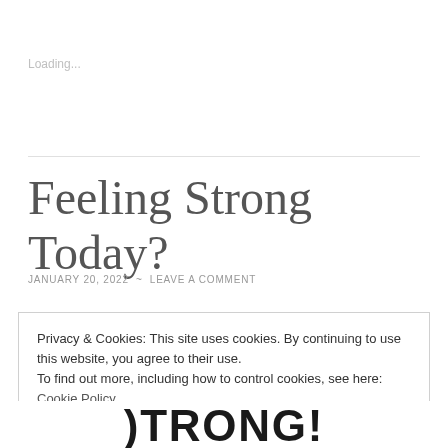Loading...
Feeling Strong Today?
JANUARY 20, 2022 ~ LEAVE A COMMENT
Privacy & Cookies: This site uses cookies. By continuing to use this website, you agree to their use.
To find out more, including how to control cookies, see here: Cookie Policy
Close and accept
[Figure (photo): Partial text reading 'STRONG!' in bold handwritten style letters, cropped at bottom of page]